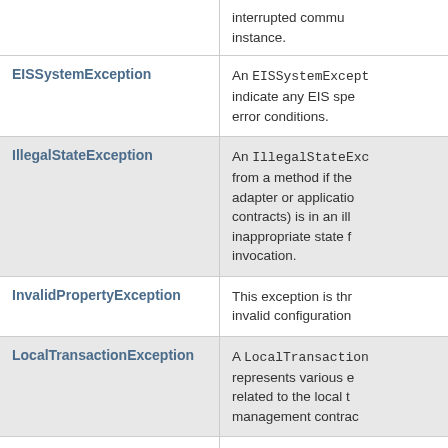| Exception | Description |
| --- | --- |
| (continued) | interrupted commu... instance. |
| EISSystemException | An EISSystemExcept... indicate any EIS spe... error conditions. |
| IllegalStateException | An IllegalStateExc... from a method if the... adapter or applicatio... contracts) is in an ill... inappropriate state f... invocation. |
| InvalidPropertyException | This exception is thr... invalid configuration... |
| LocalTransactionException | A LocalTransaction... represents various e... related to the local t... management contrac... |
| ResourceAdapterInternalException | A ResourceAdapterI... indicates any system... |